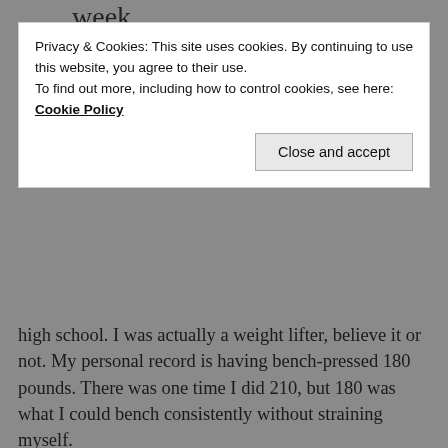week
Privacy & Cookies: This site uses cookies. By continuing to use this website, you agree to their use.
To find out more, including how to control cookies, see here: Cookie Policy
Close and accept
high school. I was actually a weight lifter, believe it or not. My personal record is having bench-pressed 180 pounds. There was one time I did 210, but 180 was what I could bench consistently without straining myself.
Both of those weights are more than my own personal body weight. And I miss being able to lift and press things that were heavier than myself.
There's a satisfaction I get in weight lifting that I don't get in many other forms of exercise. That satisfaction is being able to see the progression and improvement of how much weight I can move. Being able to track that is a